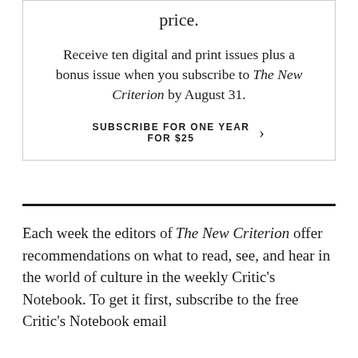price.
Receive ten digital and print issues plus a bonus issue when you subscribe to The New Criterion by August 31.
SUBSCRIBE FOR ONE YEAR FOR $25 >
Each week the editors of The New Criterion offer recommendations on what to read, see, and hear in the world of culture in the weekly Critic's Notebook. To get it first, subscribe to the free Critic's Notebook email